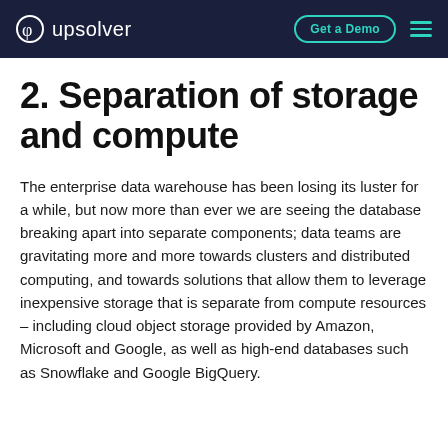upsolver | Get a Demo
2. Separation of storage and compute
The enterprise data warehouse has been losing its luster for a while, but now more than ever we are seeing the database breaking apart into separate components; data teams are gravitating more and more towards clusters and distributed computing, and towards solutions that allow them to leverage inexpensive storage that is separate from compute resources – including cloud object storage provided by Amazon, Microsoft and Google, as well as high-end databases such as Snowflake and Google BigQuery.